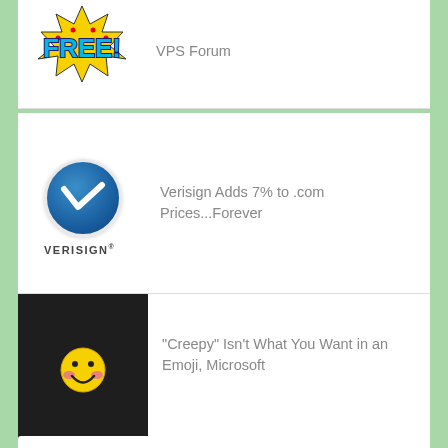[Figure (logo): FREE logo in comic/pop-art style with yellow, red, blue colors]
VPS Forum
[Figure (logo): Verisign logo: blue circle with white V checkmark, VERISIGN text below]
Verisign Adds 7% to .com Prices...Forever
[Figure (illustration): Black background with a smiley emoji face (yellow with pink cheeks)]
"Creepy" Isn't What You Want in an Emoji, Microsoft